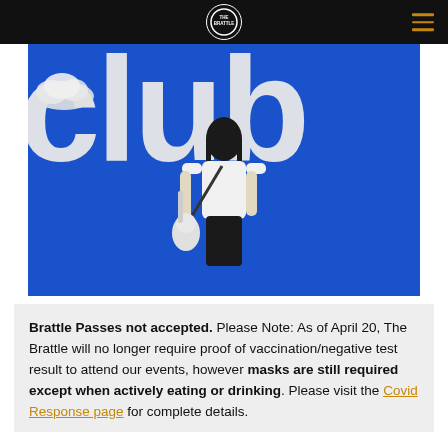The Brattle (logo) — navigation header with hamburger menu
[Figure (photo): Hero image with bright blue background showing the word 'club' in large white distressed letters, a person seen from behind holding an electric guitar, wearing a white t-shirt, with a small cloud visible on the left side.]
Brattle Passes not accepted. Please Note: As of April 20, The Brattle will no longer require proof of vaccination/negative test result to attend our events, however masks are still required except when actively eating or drinking. Please visit the Covid Response page for complete details.